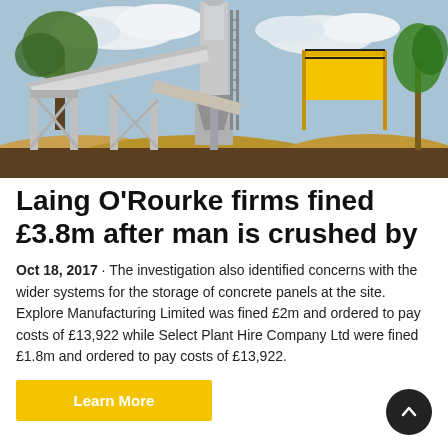[Figure (photo): Construction site with concrete mixing plant, silos, conveyor belts, yellow scaffolding, aggregate piles, trees and cloudy sky in background.]
Laing O'Rourke firms fined £3.8m after man is crushed by
Oct 18, 2017 · The investigation also identified concerns with the wider systems for the storage of concrete panels at the site. Explore Manufacturing Limited was fined £2m and ordered to pay costs of £13,922 while Select Plant Hire Company Ltd were fined £1.8m and ordered to pay costs of £13,922.
Learn More